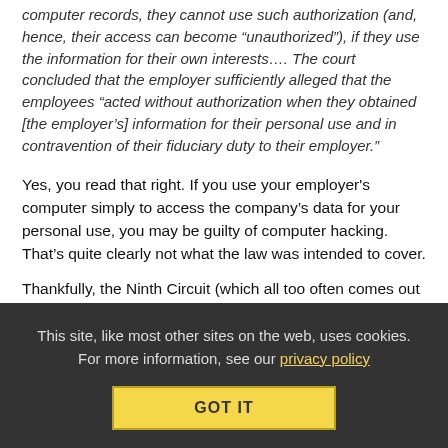computer records, they cannot use such authorization (and, hence, their access can become “unauthorized”), if they use the information for their own interests…. The court concluded that the employer sufficiently alleged that the employees “acted without authorization when they obtained [the employer’s] information for their personal use and in contravention of their fiduciary duty to their employer.”
Yes, you read that right. If you use your employer's computer simply to access the company's data for your personal use, you may be guilty of computer hacking. That’s quite clearly not what the law was intended to cover.
Thankfully, the Ninth Circuit (which all too often comes out with weird decisions) seems to have gotten this one right:
This site, like most other sites on the web, uses cookies. For more information, see our privacy policy
GOT IT